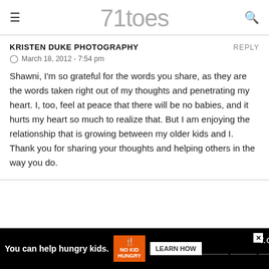71toes
KRISTEN DUKE PHOTOGRAPHY
March 18, 2012 - 7:54 pm
Shawni, I'm so grateful for the words you share, as they are the words taken right out of my thoughts and penetrating my heart. I, too, feel at peace that there will be no babies, and it hurts my heart so much to realize that. But I am enjoying the relationship that is growing between my older kids and I. Thank you for sharing your thoughts and helping others in the way you do.
[Figure (infographic): Advertisement bar: 'You can help hungry kids.' with No Kid Hungry logo and LEARN HOW button]